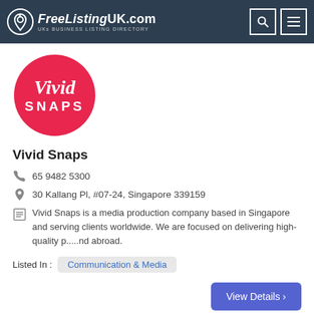FreeListingUK.com — UKs Business Listing Directory
[Figure (logo): Vivid Snaps logo — pink circle with 'Vivid SNAPS' text in white]
Vivid Snaps
65 9482 5300
30 Kallang Pl, #07-24, Singapore 339159
Vivid Snaps is a media production company based in Singapore and serving clients worldwide. We are focused on delivering high-quality p.....nd abroad.
Listed In : Communication & Media
View Details >